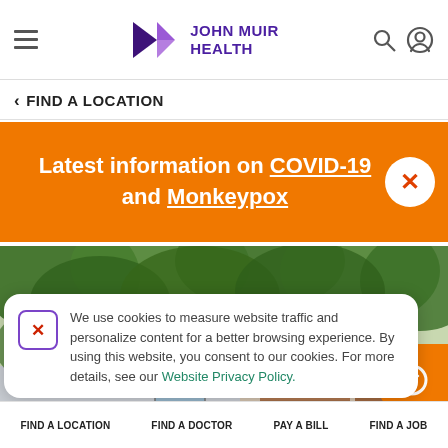John Muir Health — navigation header with hamburger menu, logo, search and account icons
< FIND A LOCATION
Latest information on COVID-19 and Monkeypox
[Figure (photo): Outdoor photo of a brick building partially obscured by green trees, John Muir Health facility]
We use cookies to measure website traffic and personalize content for a better browsing experience. By using this website, you consent to our cookies. For more details, see our Website Privacy Policy.
FIND A LOCATION  FIND A DOCTOR  PAY A BILL  FIND A JOB